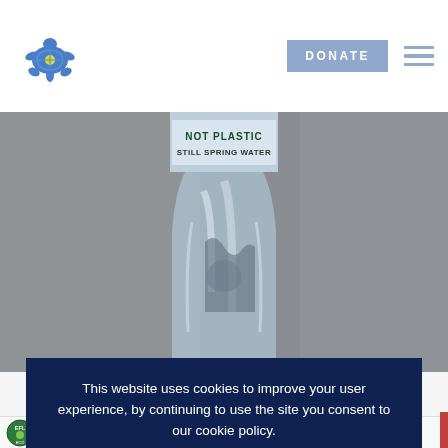[Figure (logo): Turtle logo icon — stylized turtle shape in blue and yellow/green]
DONATE
[Figure (illustration): Close-up photo of a glass bottle labeled 'NOT PLASTIC STILL SPRING WATER' against a blurred grey background]
This website uses cookies to improve your user experience, by continuing to use the site you consent to our cookie policy.
CLOSE
[Figure (logo): EFL badge/logo — circular green badge]
ZAZOU
G W
STAE
500ml